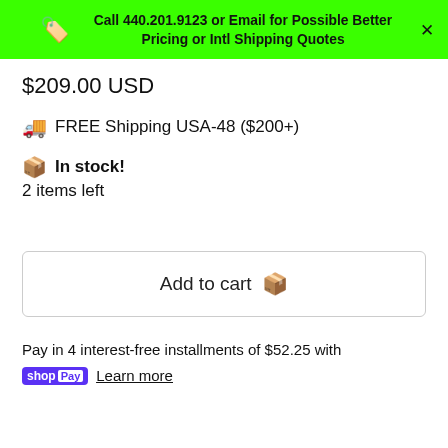Call 440.201.9123 or Email for Possible Better Pricing or Intl Shipping Quotes
$209.00 USD
🚚 FREE Shipping USA-48 ($200+)
📦 In stock!
2 items left
Add to cart 📦
Pay in 4 interest-free installments of $52.25 with shop Pay Learn more